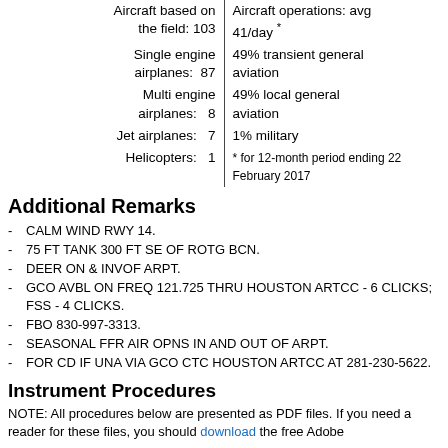| Aircraft based on the field | Aircraft operations |
| --- | --- |
| Aircraft based on the field: 103 | Aircraft operations: avg 41/day * |
| Single engine airplanes: 87 | 49% transient general aviation |
| Multi engine airplanes: 8 | 49% local general aviation |
| Jet airplanes: 7 | 1% military |
| Helicopters: 1 | * for 12-month period ending 22 February 2017 |
Additional Remarks
CALM WIND RWY 14.
75 FT TANK 300 FT SE OF ROTG BCN.
DEER ON & INVOF ARPT.
GCO AVBL ON FREQ 121.725 THRU HOUSTON ARTCC - 6 CLICKS; FSS - 4 CLICKS.
FBO 830-997-3313.
SEASONAL FFR AIR OPNS IN AND OUT OF ARPT.
FOR CD IF UNA VIA GCO CTC HOUSTON ARTCC AT 281-230-5622.
Instrument Procedures
NOTE: All procedures below are presented as PDF files. If you need a reader for these files, you should download the free Adobe